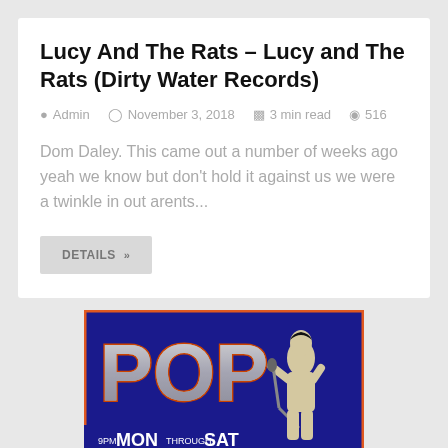Lucy And The Rats – Lucy and The Rats (Dirty Water Records)
Admin   November 3, 2018   3 min read   516
Dom Daley. This came out a number of weeks ago yeah we know but don't hold it against us we were a twinkle in out arents...
DETAILS »
[Figure (photo): Concert poster for POP show featuring a singer at a microphone, with text '9PM MON THROUGH SAT SEPT 22-27 1980 support: mon. RERUNS CADILLAC KIDS']